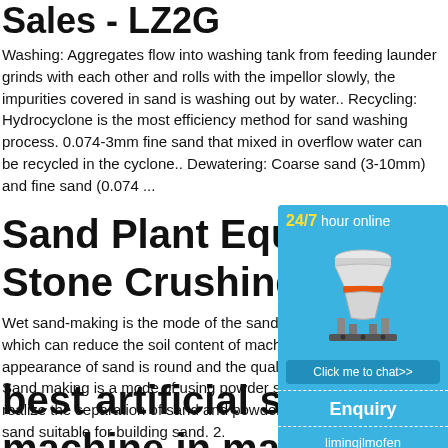Sales - LZ2G
Washing: Aggregates flow into washing tank from feeding launder grinds with each other and rolls with the impellor slowly, the impurities covered in sand is washing out by water.. Recycling: Hydrocyclone is the most efficiency method for sand washing process. 0.074-3mm fine sand that mixed in overflow water can be recycled in the cyclone.. Dewatering: Coarse sand (3-10mm) and fine sand (0.074 ...
Sand Plant Equipment Stone Crushing & Was
[Figure (photo): Industrial cone crusher machine with orange accent ring, white body, displayed on blue background with '24/7 hour online' text and 'Click me to chat>>' button]
Wet sand-making is the mode of the sand w which can reduce the soil content of machi appearance of sand is round and the qualit Sand making is a mode of using powder se realize the separation of sand and powder. sand suitable for building sand. 2.
best artificial sand was machine in malaysia
limingjlmofen